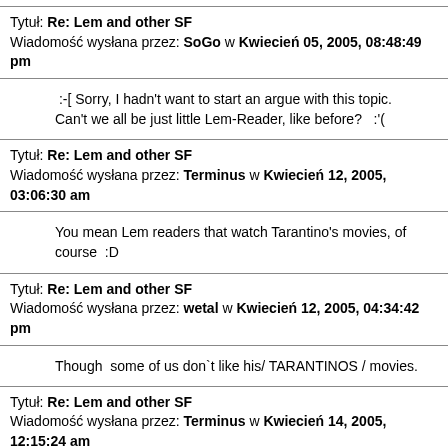Tytuł: Re: Lem and other SF
Wiadomość wysłana przez: SoGo w Kwiecień 05, 2005, 08:48:49 pm
:-[ Sorry, I hadn't want to start an argue with this topic.
Can't we all be just little Lem-Reader, like before?   :'(
Tytuł: Re: Lem and other SF
Wiadomość wysłana przez: Terminus w Kwiecień 12, 2005, 03:06:30 am
You mean Lem readers that watch Tarantino's movies, of course  :D
Tytuł: Re: Lem and other SF
Wiadomość wysłana przez: wetal w Kwiecień 12, 2005, 04:34:42 pm
Though  some of us don`t like his/ TARANTINOS / movies.
Tytuł: Re: Lem and other SF
Wiadomość wysłana przez: Terminus w Kwiecień 14, 2005, 12:15:24 am
Well, I personally don't like them (Tarantino's movies). I'm just